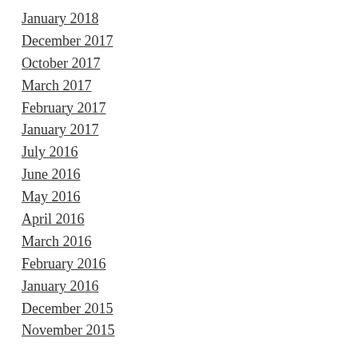January 2018
December 2017
October 2017
March 2017
February 2017
January 2017
July 2016
June 2016
May 2016
April 2016
March 2016
February 2016
January 2016
December 2015
November 2015